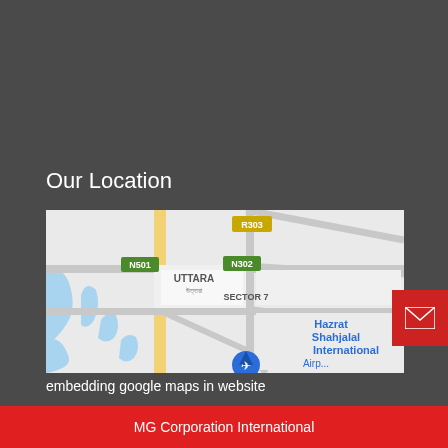Our Location
[Figure (map): Google Maps screenshot showing Uttara area of Dhaka, Bangladesh with roads R303, N501, N302 labeled, Sector 7, and Hazrat Shahjalal International Airport visible]
embedding google maps in website
MG Corporation International